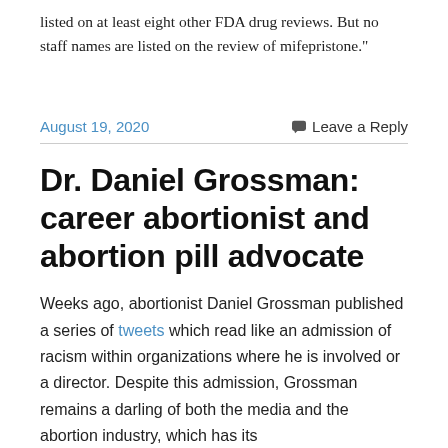listed on at least eight other FDA drug reviews. But no staff names are listed on the review of mifepristone."
August 19, 2020
Leave a Reply
Dr. Daniel Grossman: career abortionist and abortion pill advocate
Weeks ago, abortionist Daniel Grossman published a series of tweets which read like an admission of racism within organizations where he is involved or a director. Despite this admission, Grossman remains a darling of both the media and the abortion industry, which has its